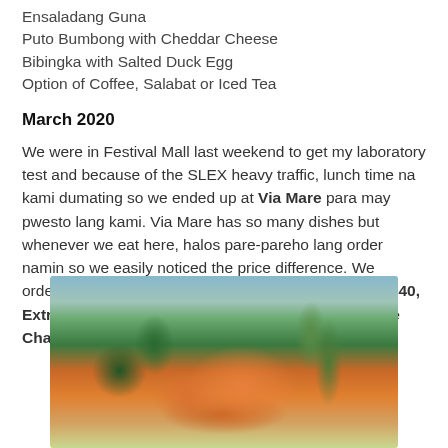Ensaladang Guna
Puto Bumbong with Cheddar Cheese
Bibingka with Salted Duck Egg
Option of Coffee, Salabat or Iced Tea
March 2020
We were in Festival Mall last weekend to get my laboratory test and because of the SLEX heavy traffic, lunch time na kami dumating so we ended up at Via Mare para may pwesto lang kami. Via Mare has so many dishes but whenever we eat here, halos pare-pareho lang order namin so we easily noticed the price difference. We ordered Kare Kare PHP520, Inihaw na Liempo PHP340, Extra Rice PHP55 and Puto Maya PHP240 + Service Charge.
[Figure (photo): Photo of Kare Kare dish in a white bowl with oxtail, vegetables including bok choy and banana heart, in orange peanut sauce]